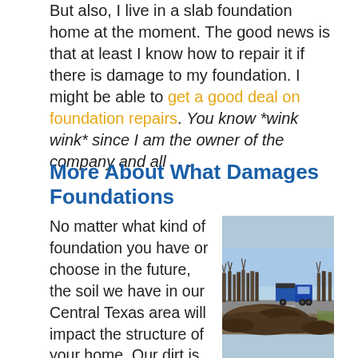But also, I live in a slab foundation home at the moment. The good news is that at least I know how to repair it if there is damage to my foundation. I might be able to get a good deal on foundation repairs. You know *wink wink* since I am the owner of the company and all . . .
More About What Damages Foundations
No matter what kind of foundation you have or choose in the future, the soil we have in our Central Texas area will impact the structure of your home. Our dirt is
[Figure (photo): A truck on a road with a large pile of dark soil/dirt in the foreground, bare trees in the background under a blue sky.]